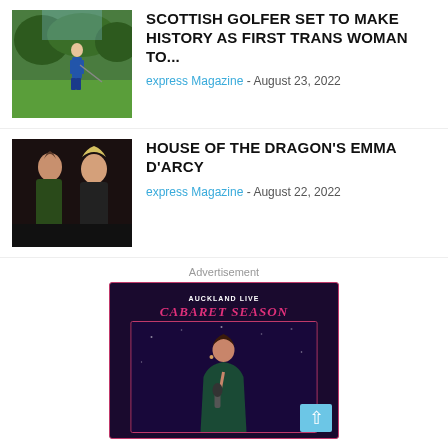[Figure (photo): Person playing golf on a green course]
SCOTTISH GOLFER SET TO MAKE HISTORY AS FIRST TRANS WOMAN TO...
express Magazine - August 23, 2022
[Figure (photo): Two women in medieval fantasy costumes, House of the Dragon]
HOUSE OF THE DRAGON'S EMMA D'ARCY
express Magazine - August 22, 2022
Advertisement
[Figure (photo): Auckland Live Cabaret Season advertisement banner with a woman singing into a microphone]